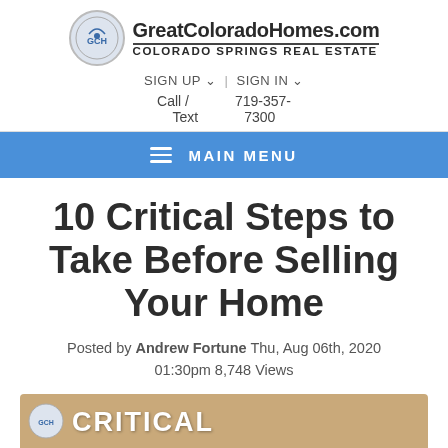GreatColoradoHomes.com — COLORADO SPRINGS REAL ESTATE
SIGN UP | SIGN IN
Call / 719-357-
Text 7300
MAIN MENU
10 Critical Steps to Take Before Selling Your Home
Posted by Andrew Fortune Thu, Aug 06th, 2020 01:30pm 8,748 Views
[Figure (photo): Partial view of a featured image banner showing the word CRITICAL with a logo and some boxes in the background]